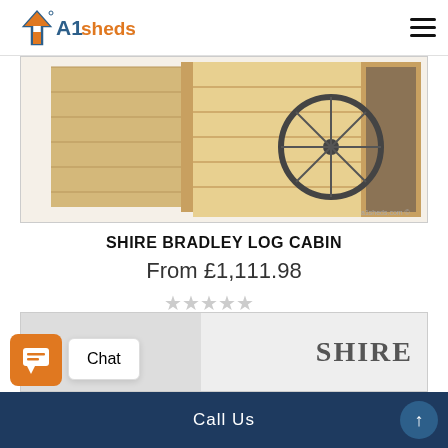A1sheds
[Figure (photo): Shire Bradley Log Cabin product photo showing interior of a wooden log cabin with open double doors revealing a bicycle tyre inside, natural pine wood construction]
SHIRE BRADLEY LOG CABIN
From £1,111.98
[Figure (other): Five empty star rating icons in light grey]
Rate this product:
SELECT OPTIONS
[Figure (photo): Partial product image at bottom with Shire brand logo text visible]
Call Us